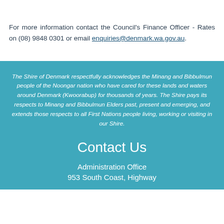For more information contact the Council's Finance Officer - Rates on (08) 9848 0301 or email enquiries@denmark.wa.gov.au.
The Shire of Denmark respectfully acknowledges the Minang and Bibbulmun people of the Noongar nation who have cared for these lands and waters around Denmark (Kwoorabup) for thousands of years. The Shire pays its respects to Minang and Bibbulmun Elders past, present and emerging, and extends those respects to all First Nations people living, working or visiting in our Shire.
Contact Us
Administration Office
953 South Coast, Highway